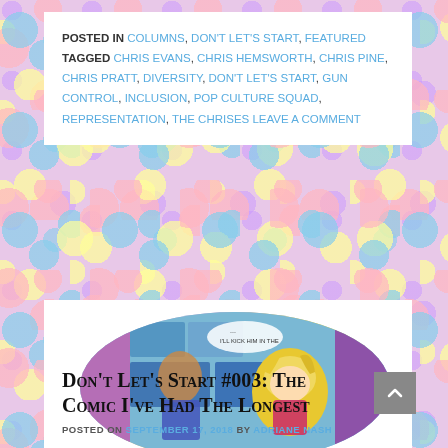POSTED IN COLUMNS, DON'T LET'S START, FEATURED TAGGED CHRIS EVANS, CHRIS HEMSWORTH, CHRIS PINE, CHRIS PRATT, DIVERSITY, DON'T LET'S START, GUN CONTROL, INCLUSION, POP CULTURE SQUAD, REPRESENTATION, THE CHRISES LEAVE A COMMENT
[Figure (illustration): Oval-cropped comic book panel showing colorful superhero characters]
Don't Let's Start #003: The Comic I've Had The Longest
POSTED ON SEPTEMBER 17, 2018 BY ADRIANE NASH